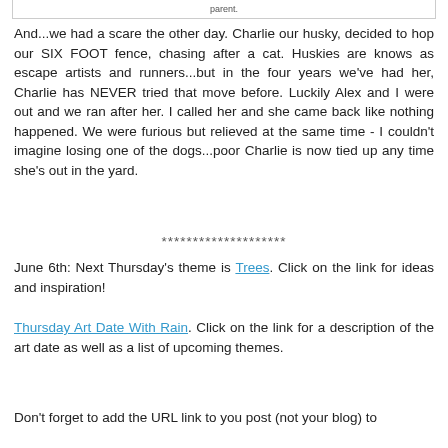And...we had a scare the other day. Charlie our husky, decided to hop our SIX FOOT fence, chasing after a cat. Huskies are knows as escape artists and runners...but in the four years we've had her, Charlie has NEVER tried that move before. Luckily Alex and I were out and we ran after her. I called her and she came back like nothing happened. We were furious but relieved at the same time - I couldn't imagine losing one of the dogs...poor Charlie is now tied up any time she's out in the yard.
********************
June 6th: Next Thursday's theme is Trees. Click on the link for ideas and inspiration!
Thursday Art Date With Rain. Click on the link for a description of the art date as well as a list of upcoming themes.
Don't forget to add the URL link to you post (not your blog) to